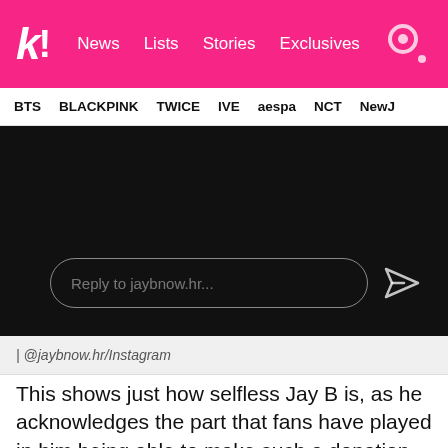k! News Lists Stories Exclusives
BTS BLACKPINK TWICE IVE aespa NCT NewJ
[Figure (screenshot): Instagram reply interface on dark/black background showing a rounded reply input box with text 'Reply to jaybnow.hr...' and a send arrow icon to the right]
| @jaybnow.hr/Instagram
This shows just how selfless Jay B is, as he acknowledges the part that fans have played in him being able to make such a donation to a good cause.Yet, fans have even more to be proud of in Jay B because he has also been a